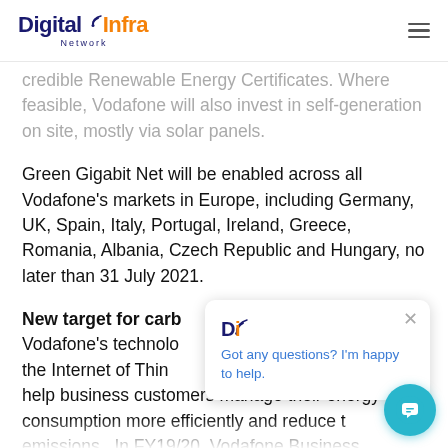Digital Infra Network
credible Renewable Energy Certificates. Where feasible, Vodafone will also invest in self-generation on site, mostly via solar panels.
Green Gigabit Net will be enabled across all Vodafone's markets in Europe, including Germany, UK, Spain, Italy, Portugal, Ireland, Greece, Romania, Albania, Czech Republic and Hungary, no later than 31 July 2021.
New target for carb
Vodafone's technolo the Internet of Thing help business customers manage their energy consumption more efficiently and reduce t emissions.  In FY19/20, Vodafone Business customers globally were able to save 6.9 million